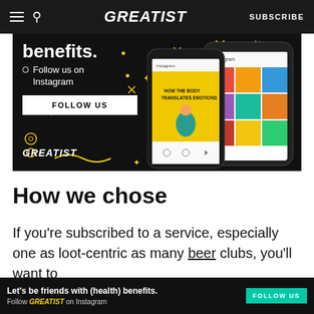GREATIST | SUBSCRIBE
[Figure (infographic): Greatist Instagram follow advertisement banner with dark background, showing 'benefits. Follow us on Instagram' text with a FOLLOW US button, decorative yellow doodles, Greatist logo, and phone mockups showing Instagram feed.]
How we chose
If you’re subscribed to a service, especially one as loot-centric as many beer clubs, you’ll want to
ADVERTISEMENT
[Figure (infographic): Bottom advertisement bar: Let’s be friends with (health) benefits. Follow GREATIST on Instagram. FOLLOW US button in teal.]